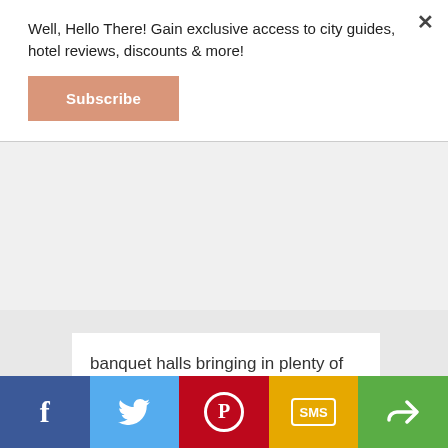Well, Hello There! Gain exclusive access to city guides, hotel reviews, discounts & more!
Subscribe
banquet halls bringing in plenty of business clientele. However, the pools, waterslide, lazy river, and splash pad create the perfect family entertainment and relaxation. So, whatever your needs, don't be shy. The Hilton Orlando is sure to exceed your expectations!
READ MORE